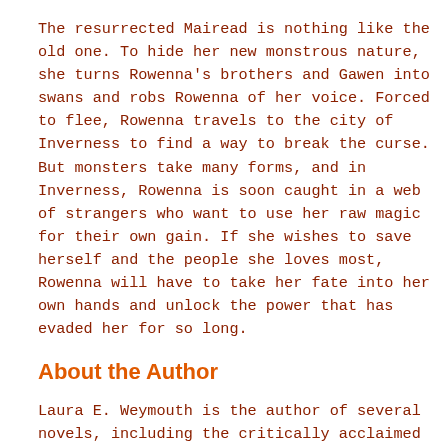The resurrected Mairead is nothing like the old one. To hide her new monstrous nature, she turns Rowenna's brothers and Gawen into swans and robs Rowenna of her voice. Forced to flee, Rowenna travels to the city of Inverness to find a way to break the curse. But monsters take many forms, and in Inverness, Rowenna is soon caught in a web of strangers who want to use her raw magic for their own gain. If she wishes to save herself and the people she loves most, Rowenna will have to take her fate into her own hands and unlock the power that has evaded her for so long.
About the Author
Laura E. Weymouth is the author of several novels, including the critically acclaimed The Light Between Worlds, A Treason of